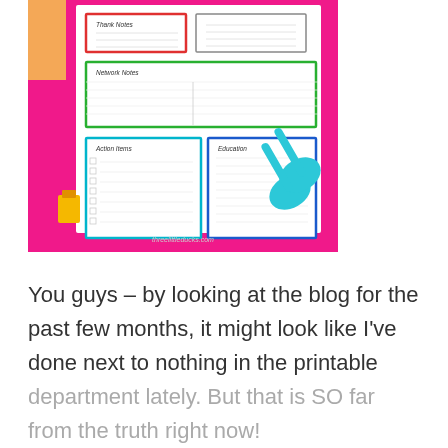[Figure (photo): A photo of a colorful printable planner page on a bright pink background, with scissors and binder clips visible. The planner has sections with red, green, and blue borders, labeled with handwritten-style text. The planner shows sections like 'Thank Notes', 'Network Notes', 'Action Items', and 'Education'.]
You guys – by looking at the blog for the past few months, it might look like I've done next to nothing in the printable department lately. But that is SO far from the truth right now!